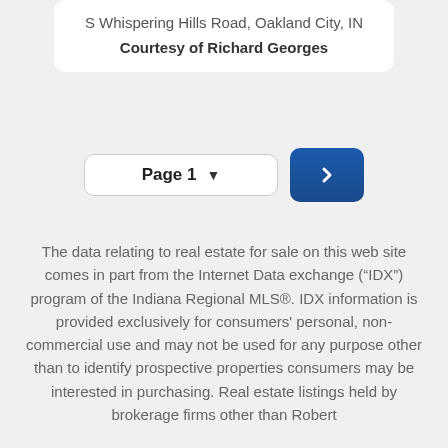S Whispering Hills Road, Oakland City, IN
Courtesy of Richard Georges
Page 1
The data relating to real estate for sale on this web site comes in part from the Internet Data exchange (“IDX”) program of the Indiana Regional MLS®. IDX information is provided exclusively for consumers' personal, non-commercial use and may not be used for any purpose other than to identify prospective properties consumers may be interested in purchasing. Real estate listings held by brokerage firms other than Robert